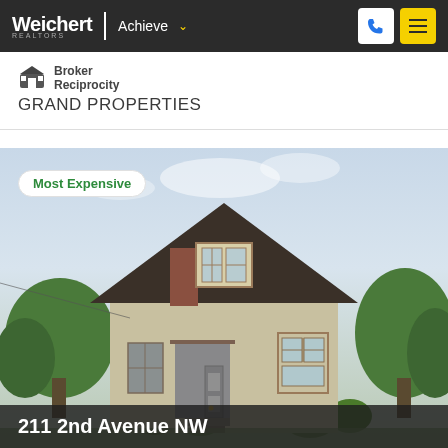Weichert | Achieve
[Figure (logo): Weichert Realtors Achieve logo with phone and menu icons]
Broker Reciprocity
GRAND PROPERTIES
[Figure (photo): Photo of a two-story stucco house at 211 2nd Avenue NW with trees and a Most Expensive badge overlay]
211 2nd Avenue NW